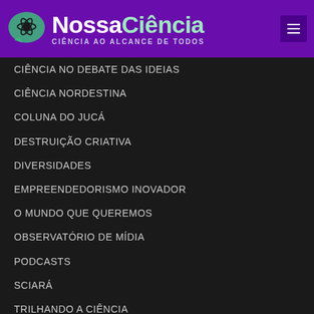[Figure (logo): NossaCiência logo with atom icon on purple header background. Text reads 'NossaCiência' with tagline 'CIÊNCIA AO ALCANCE DE TODOS']
CIÊNCIA NO DEBATE DAS IDEIAS
CIÊNCIA NORDESTINA
COLUNA DO JUCÁ
DESTRUIÇÃO CRIATIVA
DIVERSIDADES
EMPREENDEDORISMO INOVADOR
O MUNDO QUE QUEREMOS
OBSERVATÓRIO DE MÍDIA
PODCASTS
SCIARÁ
TRILHANDO A CIÊNCIA
NOTÍCIAS
DICAS DO NOSSA CIÊNCIA
EDUCAÇÃO
ESPAÇO INSTITUCIONAL
ESPECIAL